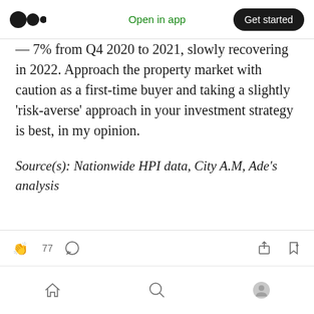Open in app | Get started
— 7% from Q4 2020 to 2021, slowly recovering in 2022. Approach the property market with caution as a first-time buyer and taking a slightly 'risk-averse' approach in your investment strategy is best, in my opinion.
Source(s): Nationwide HPI data, City A.M, Ade's analysis
77 [clap icon] [comment icon] [share icon] [bookmark icon] | [home icon] [search icon] [profile icon]